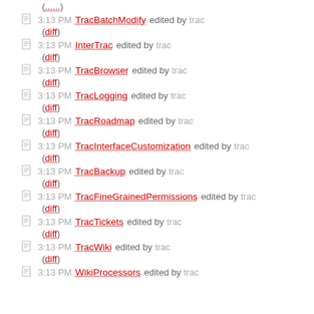(......) [partial entry at top]
3:13 PM TracBatchModify edited by trac (diff)
3:13 PM InterTrac edited by trac (diff)
3:13 PM TracBrowser edited by trac (diff)
3:13 PM TracLogging edited by trac (diff)
3:13 PM TracRoadmap edited by trac (diff)
3:13 PM TracInterfaceCustomization edited by trac (diff)
3:13 PM TracBackup edited by trac (diff)
3:13 PM TracFineGrainedPermissions edited by trac (diff)
3:13 PM TracTickets edited by trac (diff)
3:13 PM TracWiki edited by trac (diff)
3:13 PM WikiProcessors edited by trac [partial]